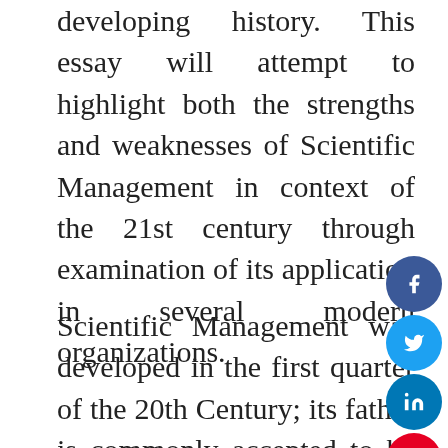developing history. This essay will attempt to highlight both the strengths and weaknesses of Scientific Management in context of the 21st century through examination of its application in several modern organizations.
Scientific Management was developed in the first quarter of the 20th Century; its father is commonly accepted to be F.W. Taylor, although some variations of the theory have been developed by Gantt and Gilbreth. Taylor recognized labor productivity was largely inefficient due to a workforce that functioned by “rules of thumb,” and a mentality that equated increased productivity with a cutting down of the labor force. Against the backdrop of Bethlehem Steel plant, Taylor carried out studies to insure that factual scientific knowledge would replace the traditional “rules of thumb”. The backbone of this activity was his “Time And Motion Study”, as Dale explains, “Taylor